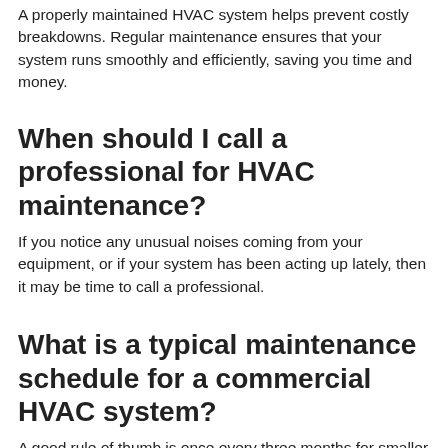A properly maintained HVAC system helps prevent costly breakdowns. Regular maintenance ensures that your system runs smoothly and efficiently, saving you time and money.
When should I call a professional for HVAC maintenance?
If you notice any unusual noises coming from your equipment, or if your system has been acting up lately, then it may be time to call a professional.
What is a typical maintenance schedule for a commercial HVAC system?
A good rule of thumb is once every three months for smaller buildings, and once every six months for larger ones.